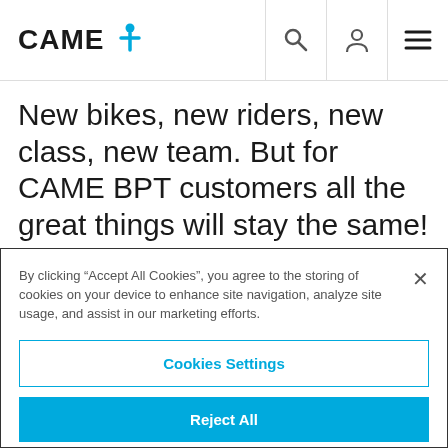CAME [logo with person icon] | search | account | menu
New bikes, new riders, new class, new team. But for CAME BPT customers all the great things will stay the same!
NEW PROMOTIONAL OFFERS FOR 2017:
By clicking “Accept All Cookies”, you agree to the storing of cookies on your device to enhance site navigation, analyze site usage, and assist in our marketing efforts.
Cookies Settings
Reject All